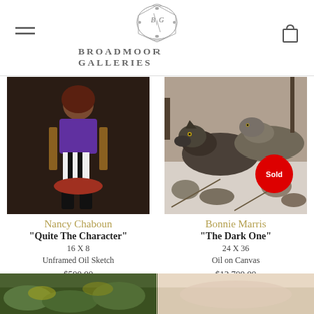BROADMOOR GALLERIES
[Figure (photo): Painting of a young woman in purple dress with black and white striped tights sitting in a chair]
Nancy Chaboun
"Quite The Character"
16 X 8
Unframed Oil Sketch
$500.00
[Figure (photo): Wildlife painting of wolves resting among rocks and snow, with a red Sold badge overlay]
Bonnie Marris
"The Dark One"
24 X 36
Oil on Canvas
$12,700.00
[Figure (photo): Partial view of a nature painting at the bottom left]
[Figure (photo): Partial view of a painting at the bottom right]